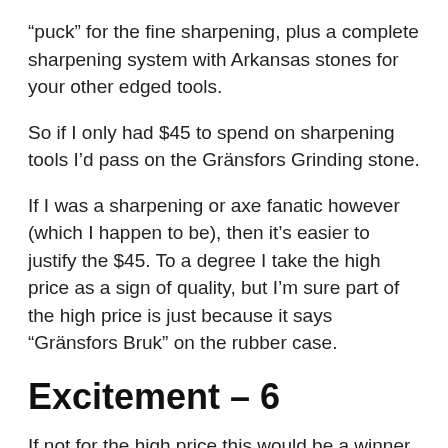“puck” for the fine sharpening, plus a complete sharpening system with Arkansas stones for your other edged tools.
So if I only had $45 to spend on sharpening tools I’d pass on the Gränsfors Grinding stone.
If I was a sharpening or axe fanatic however (which I happen to be), then it’s easier to justify the $45. To a degree I take the high price as a sign of quality, but I’m sure part of the high price is just because it says “Gränsfors Bruk” on the rubber case.
Excitement – 6
If not for the high price this would be a winner for me, but the price does bring down my excitement quite a bit.